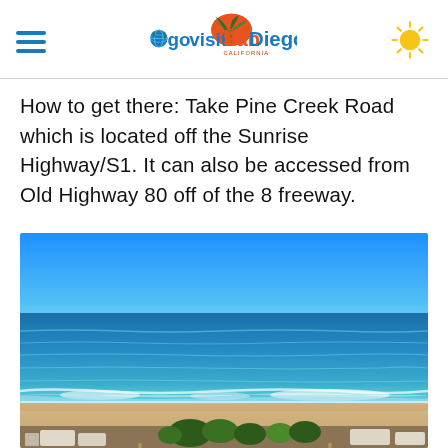go visit San Diego CALIFORNIA
How to get there: Take Pine Creek Road which is located off the Sunrise Highway/S1. It can also be accessed from Old Highway 80 off of the 8 freeway.
[Figure (photo): Aerial view of a beach with waves breaking on shore, sandy beach, and beach campground with RVs and trees in the foreground, bright blue sky and ocean.]